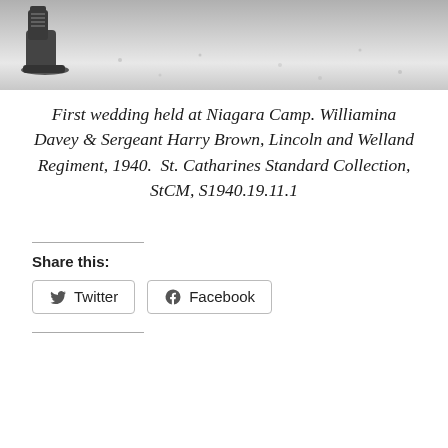[Figure (photo): Black and white photograph showing the bottom portion of a scene — a boot/shoe visible at upper left, snowy or sandy ground texture filling the frame.]
First wedding held at Niagara Camp. Williamina Davey & Sergeant Harry Brown, Lincoln and Welland Regiment, 1940.  St. Catharines Standard Collection, StCM, S1940.19.11.1
Share this:
Twitter
Facebook